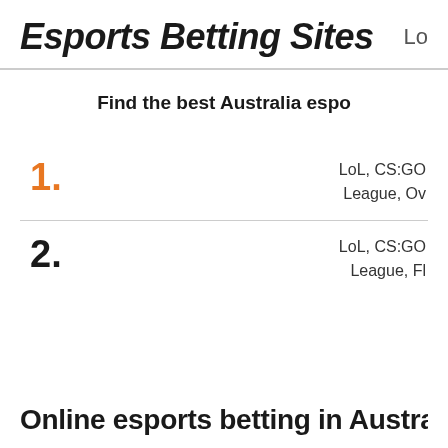Esports Betting Sites    Lo
Find the best Australia espo
1.   LoL, CS:GO League, Ov
2.   LoL, CS:GO League, Fl
Online esports betting in Australia